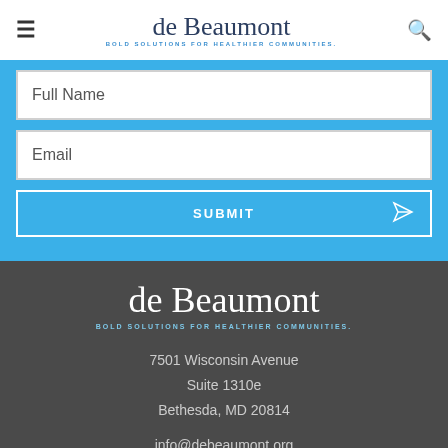de Beaumont — BOLD SOLUTIONS FOR HEALTHIER COMMUNITIES.
Full Name
Email
SUBMIT
[Figure (logo): de Beaumont foundation logo in white on dark grey background with tagline BOLD SOLUTIONS FOR HEALTHIER COMMUNITIES.]
7501 Wisconsin Avenue
Suite 1310e
Bethesda, MD 20814
info@debeaumont.org